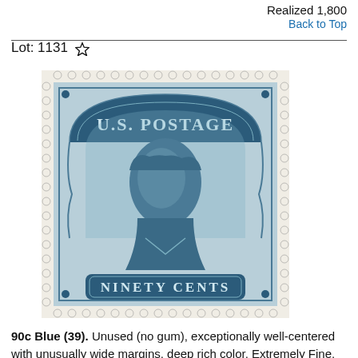Realized 1,800
Back to Top
Lot: 1131 ★
[Figure (photo): A U.S. Postage 90 cent blue stamp (Scott #39) featuring a portrait of a statesman in military uniform, with perforated edges and the inscription 'NINETY CENTS' at the bottom.]
90c Blue (39). Unused (no gum), exceptionally well-centered with unusually wide margins, deep rich color, Extremely Fine, fortasting, accompanied